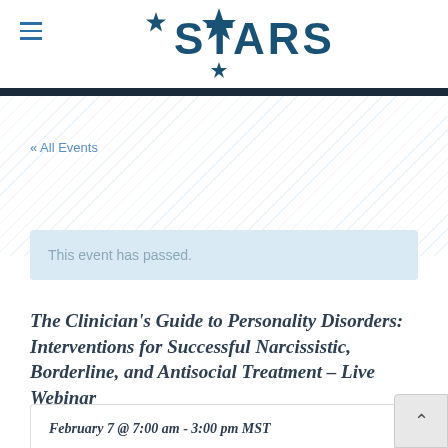[Figure (logo): STARS logo with star icons above and below the text, teal/navy color]
« All Events
This event has passed.
The Clinician's Guide to Personality Disorders: Interventions for Successful Narcissistic, Borderline, and Antisocial Treatment - Live Webinar
February 7 @ 7:00 am - 3:00 pm MST